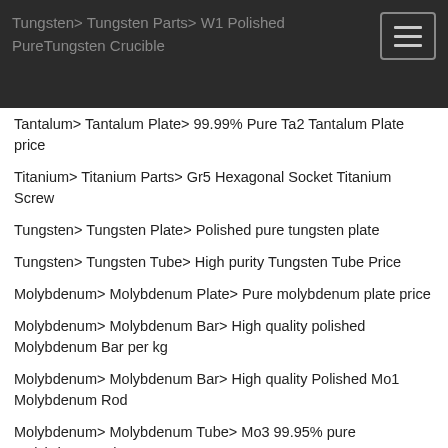Tungsten > Tungsten Parts > W1 Polished PureTungsten Crucible
Tantalum > Tantalum Plate > 99.99% Pure Ta2 Tantalum Plate price
Titanium > Titanium Parts > Gr5 Hexagonal Socket Titanium Screw
Tungsten > Tungsten Plate > Polished pure tungsten plate
Tungsten > Tungsten Tube > High purity Tungsten Tube Price
Molybdenum > Molybdenum Plate > Pure molybdenum plate price
Molybdenum > Molybdenum Bar > High quality polished Molybdenum Bar per kg
Molybdenum > Molybdenum Bar > High quality Polished Mo1 Molybdenum Rod
Molybdenum > Molybdenum Tube > Mo3 99.95% pure Molybdenum tube
Tungsten > Tungsten Alloy > w-ni-fe alloy tungsten nickel